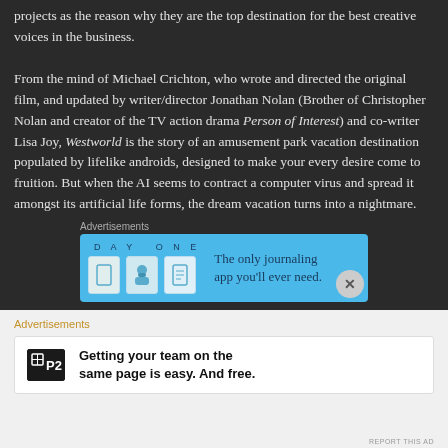projects as the reason why they are the top destination for the best creative voices in the business.
From the mind of Michael Crichton, who wrote and directed the original film, and updated by writer/director Jonathan Nolan (Brother of Christopher Nolan and creator of the TV action drama Person of Interest) and co-writer Lisa Joy, Westworld is the story of an amusement park vacation destination populated by lifelike androids, designed to make your every desire come to fruition. But when the AI seems to contract a computer virus and spread it amongst its artificial life forms, the dream vacation turns into a nightmare.
Advertisements
[Figure (illustration): Day One app advertisement banner — blue background with app icons (journal, person, notebook) and text reading 'DAY ONE — The only journaling app you'll ever need.']
Advertisements
[Figure (illustration): P2 advertisement — white background with P2 logo (black square with grid icon and P2 text) and bold text: 'Getting your team on the same page is easy. And free.']